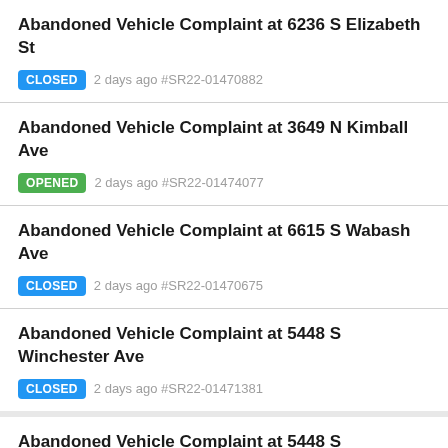Abandoned Vehicle Complaint at 6236 S Elizabeth St
CLOSED 2 days ago #SR22-01470882
Abandoned Vehicle Complaint at 3649 N Kimball Ave
OPENED 2 days ago #SR22-01474077
Abandoned Vehicle Complaint at 6615 S Wabash Ave
CLOSED 2 days ago #SR22-01470675
Abandoned Vehicle Complaint at 5448 S Winchester Ave
CLOSED 2 days ago #SR22-01471381
Abandoned Vehicle Complaint at 5448 S Winchester Ave